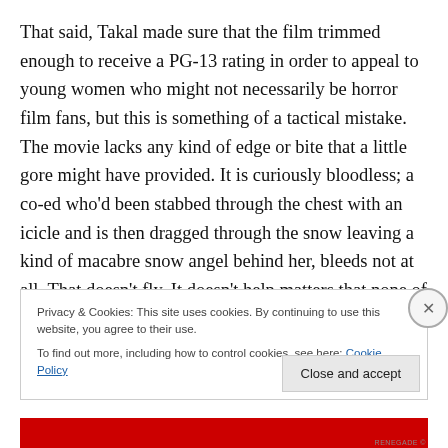That said, Takal made sure that the film trimmed enough to receive a PG-13 rating in order to appeal to young women who might not necessarily be horror film fans, but this is something of a tactical mistake. The movie lacks any kind of edge or bite that a little gore might have provided. It is curiously bloodless; a co-ed who'd been stabbed through the chest with an icicle and is then dragged through the snow leaving a kind of macabre snow angel behind her, bleeds not at all. That doesn't fly. It doesn't help matters that none of the murders are
Privacy & Cookies: This site uses cookies. By continuing to use this website, you agree to their use.
To find out more, including how to control cookies, see here: Cookie Policy
Close and accept